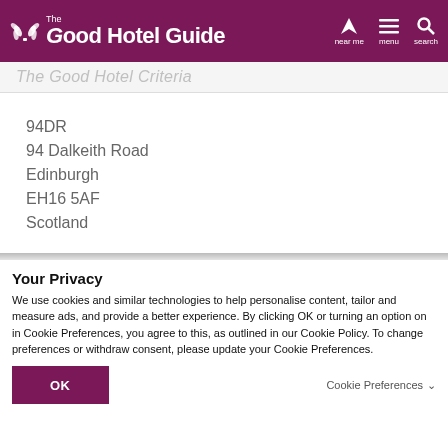The Good Hotel Guide — near me | menu | search
The Good Hotel Criteria
94DR
94 Dalkeith Road
Edinburgh
EH16 5AF
Scotland
Your Privacy
We use cookies and similar technologies to help personalise content, tailor and measure ads, and provide a better experience. By clicking OK or turning an option on in Cookie Preferences, you agree to this, as outlined in our Cookie Policy. To change preferences or withdraw consent, please update your Cookie Preferences.
OK
Cookie Preferences